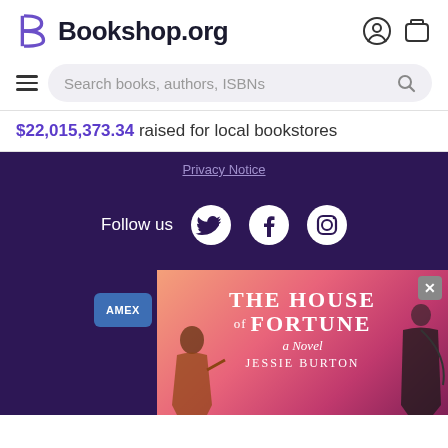Bookshop.org
Search books, authors, ISBNs
$22,015,373.34 raised for local bookstores
Privacy Notice
Follow us
Payments Accepted
Certified
[Figure (screenshot): Advertisement for 'The House of Fortune: A Novel' by Jessie Burton with a gradient pink/purple background and illustrated figures]